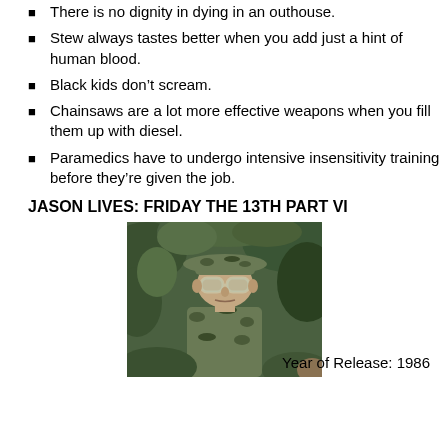There is no dignity in dying in an outhouse.
Stew always tastes better when you add just a hint of human blood.
Black kids don't scream.
Chainsaws are a lot more effective weapons when you fill them up with diesel.
Paramedics have to undergo intensive insensitivity training before they're given the job.
JASON LIVES: FRIDAY THE 13TH PART VI
[Figure (photo): A person wearing a camouflage jacket and a wide-brimmed hat with large goggles/glasses, photographed outdoors in a forested/jungle setting.]
Year of Release: 1986